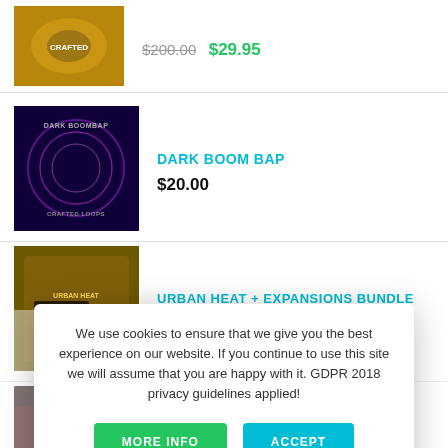[Figure (photo): Product thumbnail - first item (partially visible at top), golden/brown food image]
$200.00  $29.95
[Figure (photo): Dark Boom Bap album art - dark purple with circular motif]
DARK BOOM BAP
$20.00
[Figure (photo): Urban Heat + Expansions Bundle product image - golden/olive tone]
URBAN HEAT + EXPANSIONS BUNDLE
$49.99  $19.99
[Figure (photo): Mayhem product image - red dark dramatic figure]
MAYHEM
$20.00
[Figure (photo): Dark product image partially visible]
[Figure (photo): Teal/green foundations product image partially visible]
$19.20
We use cookies to ensure that we give you the best experience on our website. If you continue to use this site we will assume that you are happy with it. GDPR 2018 privacy guidelines applied!
MORE INFO
ACCEPT